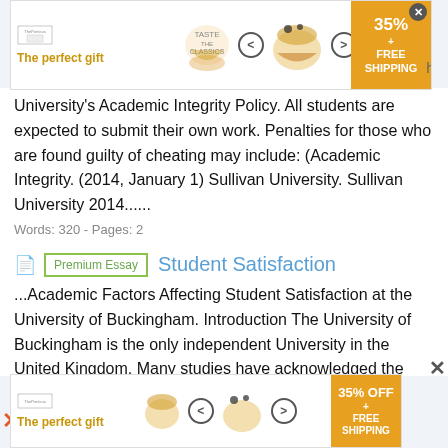[Figure (other): Advertisement banner: 'The perfect gift' with food pot image, navigation arrows, and 35% FREE SHIPPING badge]
University's Academic Integrity Policy. All students are expected to submit their own work. Penalties for those who are found guilty of cheating may include: (Academic Integrity. (2014, January 1) Sullivan University. Sullivan University 2014......
Words: 320 - Pages: 2
Premium Essay   Student Satisfaction
...Academic Factors Affecting Student Satisfaction at the University of Buckingham. Introduction The University of Buckingham is the only independent University in the United Kingdom. Many studies have acknowledged the benefits of the private universities compare to public universities. Private universities are
[Figure (other): Advertisement banner bottom: 'The perfect gift' with food pot image, navigation arrows, and 35% OFF FREE SHIPPING badge]